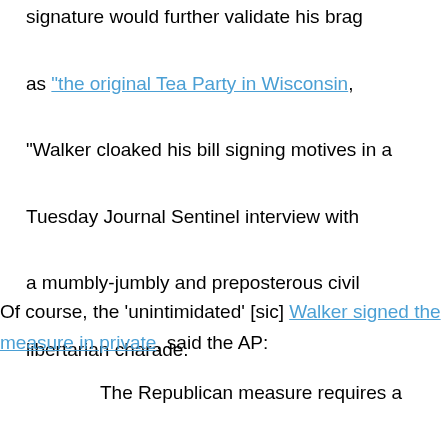signature would further validate his brag as "the original Tea Party in Wisconsin", "Walker cloaked his bill signing motives in a Tuesday Journal Sentinel interview with a mumbly-jumbly and preposterous civil libertarian charade.
Of course, the 'unintimidated' [sic] Walker signed the measure in private, said the AP:
The Republican measure requires a petition to trigger a state review of a nickname -- a departure from current law,